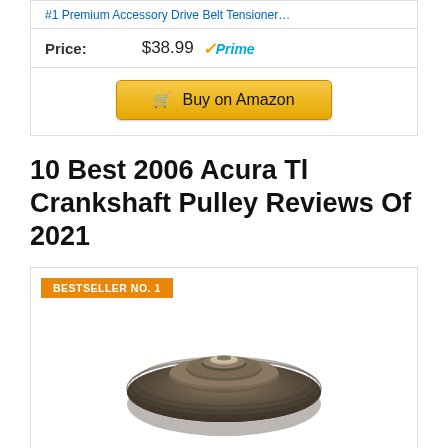#1 Premium Accessory Drive Belt Tensioner...
Price: $38.99 ✓Prime
[Figure (other): Buy on Amazon button]
10 Best 2006 Acura Tl Crankshaft Pulley Reviews Of 2021
BESTSELLER NO. 1
[Figure (photo): DTA D594-267 Premium Harmonic crankshaft pulley product image]
DTA D594-267 Premium Harmonic